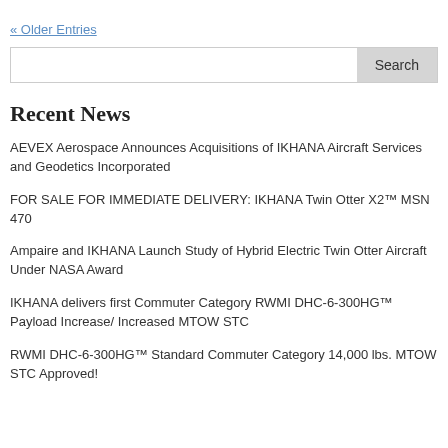« Older Entries
Recent News
AEVEX Aerospace Announces Acquisitions of IKHANA Aircraft Services and Geodetics Incorporated
FOR SALE FOR IMMEDIATE DELIVERY: IKHANA Twin Otter X2™ MSN 470
Ampaire and IKHANA Launch Study of Hybrid Electric Twin Otter Aircraft Under NASA Award
IKHANA delivers first Commuter Category RWMI DHC-6-300HG™ Payload Increase/ Increased MTOW STC
RWMI DHC-6-300HG™ Standard Commuter Category 14,000 lbs. MTOW STC Approved!